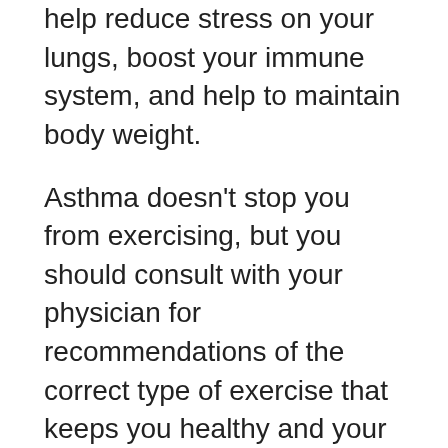help reduce stress on your lungs, boost your immune system, and help to maintain body weight.
Asthma doesn't stop you from exercising, but you should consult with your physician for recommendations of the correct type of exercise that keeps you healthy and your asthma in check.
7. Always Stay In Contact With Your Doctor
To manage your asthma it is always recommended to keep in contact with